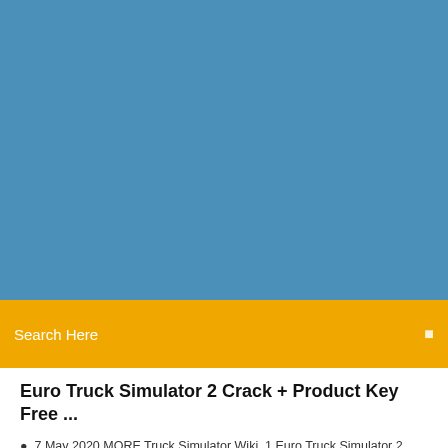[Figure (other): Blue background header image area]
Search Here
Euro Truck Simulator 2 Crack + Product Key Free ...
7 May 2020 MORE Truck Simulator Wiki. 1 Euro Truck Simulator 2 Truck Dealers; 2 Radio Stations; 3 Euro Truck Simulator 2 Trucks. 'The Mandalorian':  |
6 Comments
29/01/2020 · How To Download Free Euro Truck Simulator 2 IN